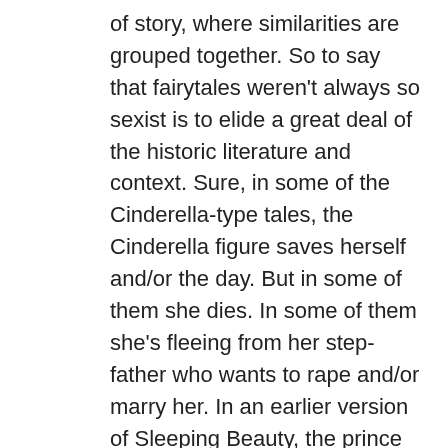of story, where similarities are grouped together. So to say that fairytales weren't always so sexist is to elide a great deal of the historic literature and context. Sure, in some of the Cinderella-type tales, the Cinderella figure saves herself and/or the day. But in some of them she dies. In some of them she's fleeing from her step-father who wants to rape and/or marry her. In an earlier version of Sleeping Beauty, the prince rapes SB while she's asleep and she wakes up having given birth to twins.
I did a substantial chunk of my MA on fairy/folk tales and only barely scratched the surface. I'm fascinated by them and love them (and I abhor their Disneyfication), but I'm also very aware at the ease with which they can be and have been